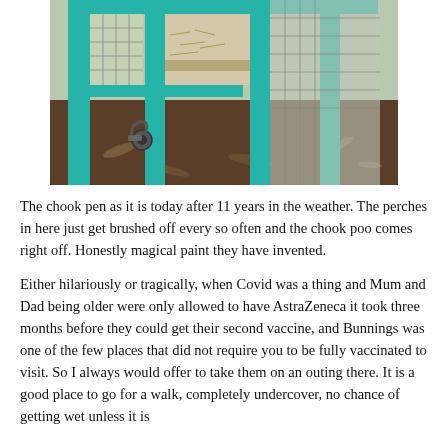[Figure (photo): A teal/turquoise-painted wooden chicken coop (chook pen) with wire mesh panels, photographed from outside showing the ground level with dirt, dry leaves and a latch mechanism visible. The interior shows wood shavings or bedding material on a shelf/perch area.]
The chook pen as it is today after 11 years in the weather. The perches in here just get brushed off every so often and the chook poo comes right off. Honestly magical paint they have invented.
Either hilariously or tragically, when Covid was a thing and Mum and Dad being older were only allowed to have AstraZeneca it took three months before they could get their second vaccine, and Bunnings was one of the few places that did not require you to be fully vaccinated to visit. So I always would offer to take them on an outing there. It is a good place to go for a walk, completely undercover, no chance of getting wet unless it is